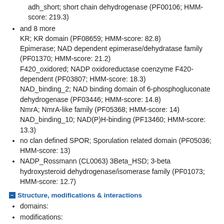adh_short; short chain dehydrogenase (PF00106; HMM-score: 219.3)
and 8 more
KR; KR domain (PF08659; HMM-score: 82.8)
Epimerase; NAD dependent epimerase/dehydratase family (PF01370; HMM-score: 21.2)
F420_oxidored; NADP oxidoreductase coenzyme F420-dependent (PF03807; HMM-score: 18.3)
NAD_binding_2; NAD binding domain of 6-phosphogluconate dehydrogenase (PF03446; HMM-score: 14.8)
NmrA; NmrA-like family (PF05368; HMM-score: 14)
NAD_binding_10; NAD(P)H-binding (PF13460; HMM-score: 13.3)
no clan defined SPOR; Sporulation related domain (PF05036; HMM-score: 13)
NADP_Rossmann (CL0063) 3Beta_HSD; 3-beta hydroxysteroid dehydrogenase/isomerase family (PF01073; HMM-score: 12.7)
Structure, modifications & interactions
domains:
modifications:
cofactors: